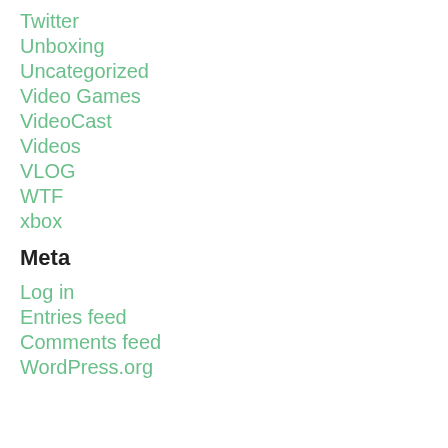Twitter
Unboxing
Uncategorized
Video Games
VideoCast
Videos
VLOG
WTF
xbox
Meta
Log in
Entries feed
Comments feed
WordPress.org